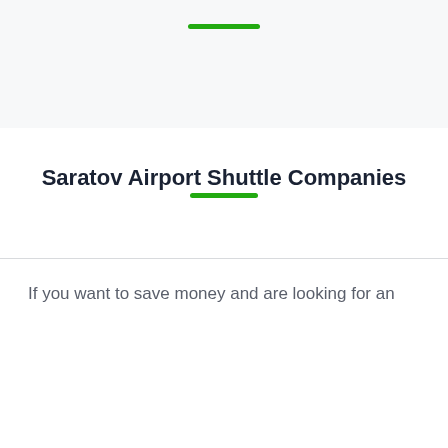Saratov Airport Shuttle Companies
If you want to save money and are looking for an